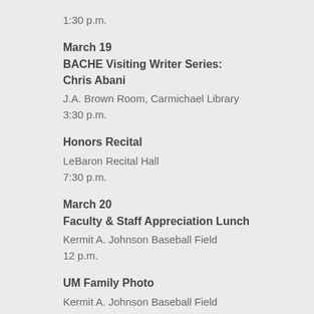1:30 p.m.
March 19
BACHE Visiting Writer Series: Chris Abani
J.A. Brown Room, Carmichael Library
3:30 p.m.
Honors Recital
LeBaron Recital Hall
7:30 p.m.
March 20
Faculty & Staff Appreciation Lunch
Kermit A. Johnson Baseball Field
12 p.m.
UM Family Photo
Kermit A. Johnson Baseball Field